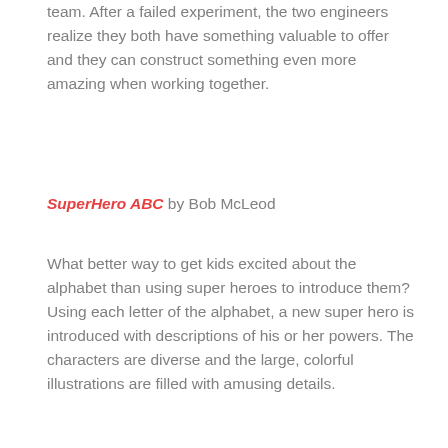team. After a failed experiment, the two engineers realize they both have something valuable to offer and they can construct something even more amazing when working together.
SuperHero ABC by Bob McLeod
What better way to get kids excited about the alphabet than using super heroes to introduce them? Using each letter of the alphabet, a new super hero is introduced with descriptions of his or her powers. The characters are diverse and the large, colorful illustrations are filled with amusing details.